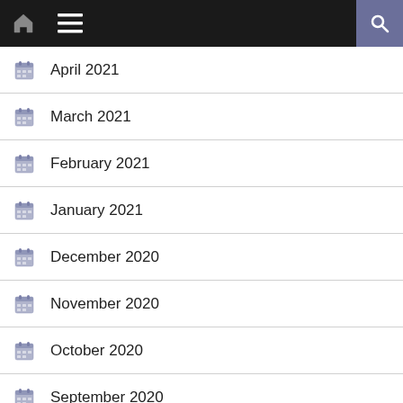Navigation bar with home, menu, and search icons
April 2021
March 2021
February 2021
January 2021
December 2020
November 2020
October 2020
September 2020
August 2020
July 2020